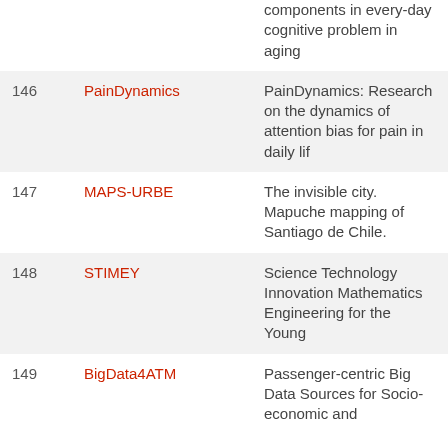| # | Acronym | Description |
| --- | --- | --- |
|  |  | components in every-day cognitive problem in aging |
| 146 | PainDynamics | PainDynamics: Research on the dynamics of attention bias for pain in daily lif |
| 147 | MAPS-URBE | The invisible city. Mapuche mapping of Santiago de Chile. |
| 148 | STIMEY | Science Technology Innovation Mathematics Engineering for the Young |
| 149 | BigData4ATM | Passenger-centric Big Data Sources for Socio-economic and |